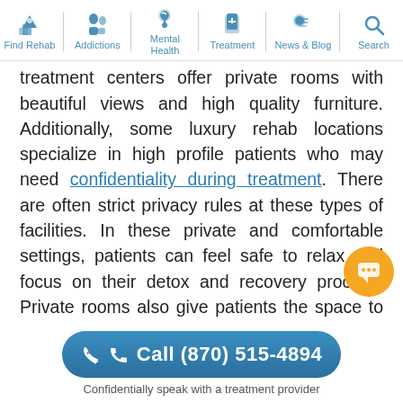Find Rehab | Addictions | Mental Health | Treatment | News & Blog | Search
treatment centers offer private rooms with beautiful views and high quality furniture. Additionally, some luxury rehab locations specialize in high profile patients who may need confidentiality during treatment. There are often strict privacy rules at these types of facilities. In these private and comfortable settings, patients can feel safe to relax and focus on their detox and recovery process. Private rooms also give patients the space to reflect on their treatment. Pools, yoga centers, gyms, saunas, spa treatments, acupuncture, maid service, and gourmet meals are other luxury amenities and methods that further relaxation during the treatment
Call (870) 515-4894
Confidentially speak with a treatment provider